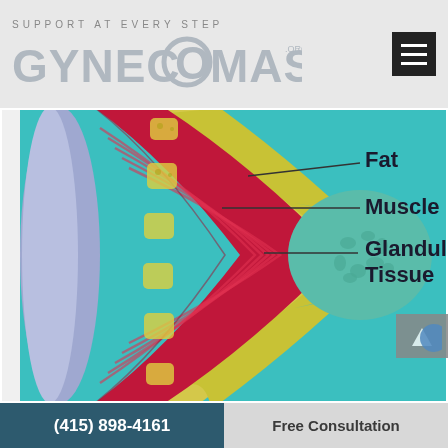SUPPORT AT EVERY STEP GYNECOMASTIA.ORG
[Figure (illustration): Medical cross-section diagram of chest tissue layers showing Fat (yellow), Muscle (red/pink), and Glandular Tissue (teal/green), labeled with lines pointing to each layer. Background is teal/turquoise.]
(415) 898-4161   Free Consultation